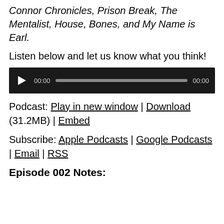Connor Chronicles, Prison Break, The Mentalist, House, Bones, and My Name is Earl.
Listen below and let us know what you think!
[Figure (other): Audio player widget with play button, timestamp 00:00, progress bar, and end timestamp 00:00 on dark background]
Podcast: Play in new window | Download (31.2MB) | Embed
Subscribe: Apple Podcasts | Google Podcasts | Email | RSS
Episode 002 Notes: